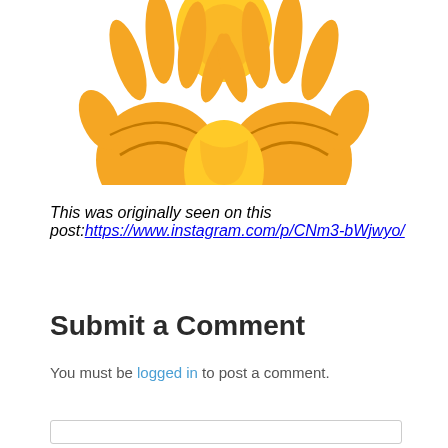[Figure (illustration): Emoji illustration showing two orange hands raised up with palms facing outward, and a yellow/orange face partially visible between them, representing a 'raising hands' or celebration emoji]
This was originally seen on this post: https://www.instagram.com/p/CNm3-bWjwyo/
Submit a Comment
You must be logged in to post a comment.